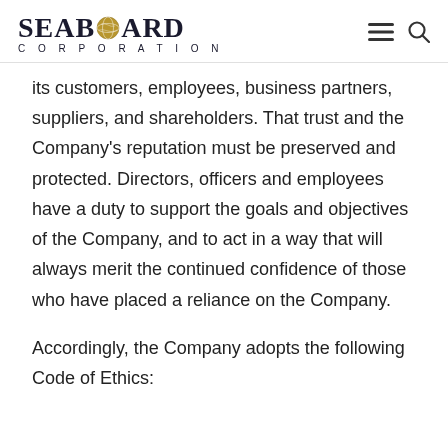SEABOARD CORPORATION
its customers, employees, business partners, suppliers, and shareholders. That trust and the Company's reputation must be preserved and protected. Directors, officers and employees have a duty to support the goals and objectives of the Company, and to act in a way that will always merit the continued confidence of those who have placed a reliance on the Company.
Accordingly, the Company adopts the following Code of Ethics: